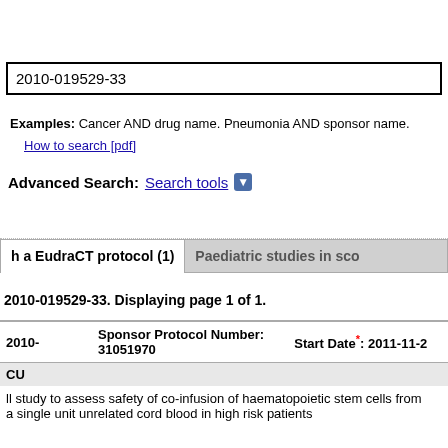2010-019529-33
Examples: Cancer AND drug name. Pneumonia AND sponsor name.
How to search [pdf]
Advanced Search: Search tools
h a EudraCT protocol (1)
Paediatric studies in sco
2010-019529-33. Displaying page 1 of 1.
|  | Sponsor Protocol Number: | Start Date*: |
| --- | --- | --- |
| 2010- | 31051970 | 2011-11-2 |
CU
ll study to assess safety of co-infusion of haematopoietic stem cells from a single unit unrelated cord blood in high risk patients